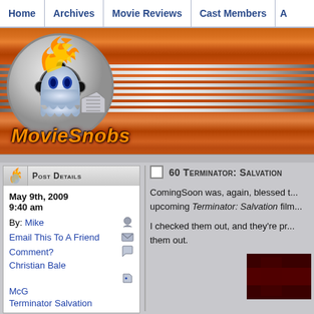Home | Archives | Movie Reviews | Cast Members | A
[Figure (logo): MovieSnobs website logo: film reel with flame and ghost character, text 'MovieSnobs' in orange italic]
60 Terminator: Salvation
Post Details
May 9th, 2009
9:40 am
By: Mike
Email This To A Friend
Comment?
Christian Bale
McG
Terminator Salvation
ComingSoon was, again, blessed t... upcoming Terminator: Salvation film...
I checked them out, and they're pr... them out.
[Figure (photo): Dark reddish thumbnail image, partially visible at bottom right]